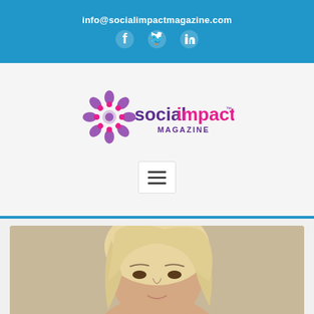info@socialimpactmagazine.com
[Figure (logo): Social Impact Magazine logo with circular floral icon and text 'socialimpact MAGAZINE']
[Figure (screenshot): Hamburger menu button (three horizontal lines)]
[Figure (photo): Portrait photo of a blonde woman, cropped at mid-face level]